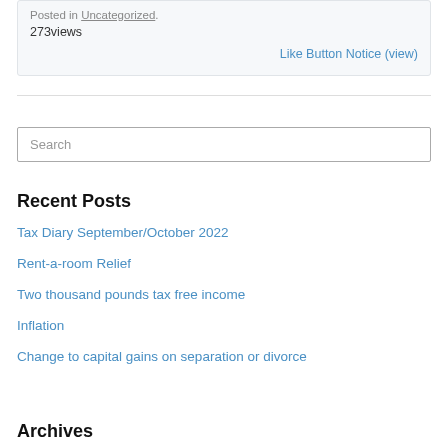Posted in Uncategorized.
273views
Like Button Notice (view)
Search
Recent Posts
Tax Diary September/October 2022
Rent-a-room Relief
Two thousand pounds tax free income
Inflation
Change to capital gains on separation or divorce
Archives